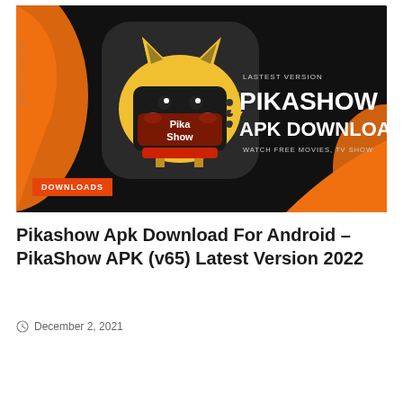[Figure (illustration): PikaShow APK Download banner image with orange and black background. Shows the PikaShow app icon (Pikachu-themed TV with logo) on the left and text 'LASTEST VERSION PIKASHOW APK DOWNLOAD WATCH FREE MOVIES, TV SHOW' on the right. A 'DOWNLOADS' orange badge is shown at the bottom left of the image.]
Pikashow Apk Download For Android – PikaShow APK (v65) Latest Version 2022
December 2, 2021